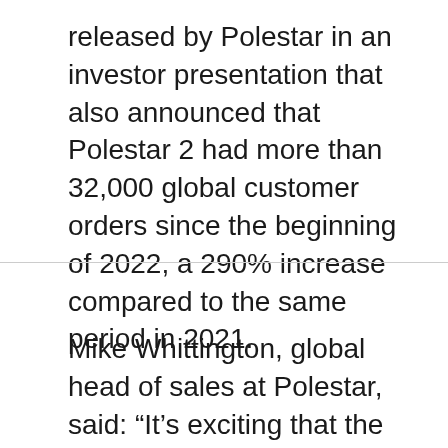released by Polestar in an investor presentation that also announced that Polestar 2 had more than 32,000 global customer orders since the beginning of 2022, a 290% increase compared to the same period in 2021.
Mike Whittington, global head of sales at Polestar, said: “It’s exciting that the entire team is experiencing the growing momentum in our business. Our order book is at an all-time high and is currently running at an annualized rate of over 75,000